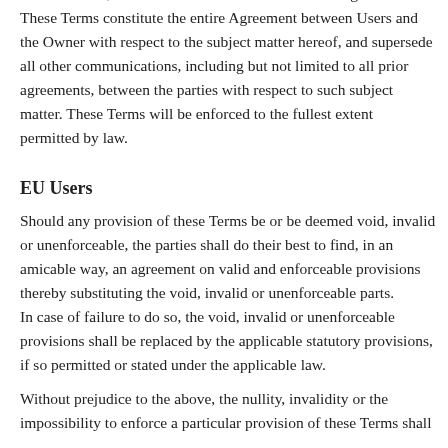render it valid, enforceable and consistent with its original intent. These Terms constitute the entire Agreement between Users and the Owner with respect to the subject matter hereof, and supersede all other communications, including but not limited to all prior agreements, between the parties with respect to such subject matter. These Terms will be enforced to the fullest extent permitted by law.
EU Users
Should any provision of these Terms be or be deemed void, invalid or unenforceable, the parties shall do their best to find, in an amicable way, an agreement on valid and enforceable provisions thereby substituting the void, invalid or unenforceable parts.
In case of failure to do so, the void, invalid or unenforceable provisions shall be replaced by the applicable statutory provisions, if so permitted or stated under the applicable law.
Without prejudice to the above, the nullity, invalidity or the impossibility to enforce a particular provision of these Terms shall